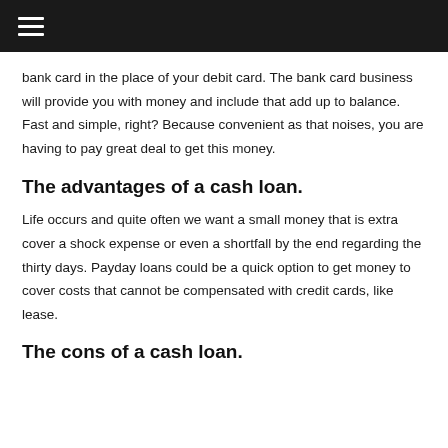bank card in the place of your debit card. The bank card business will provide you with money and include that add up to balance. Fast and simple, right? Because convenient as that noises, you are having to pay great deal to get this money.
The advantages of a cash loan.
Life occurs and quite often we want a small money that is extra cover a shock expense or even a shortfall by the end regarding the thirty days. Payday loans could be a quick option to get money to cover costs that cannot be compensated with credit cards, like lease.
The cons of a cash loan.